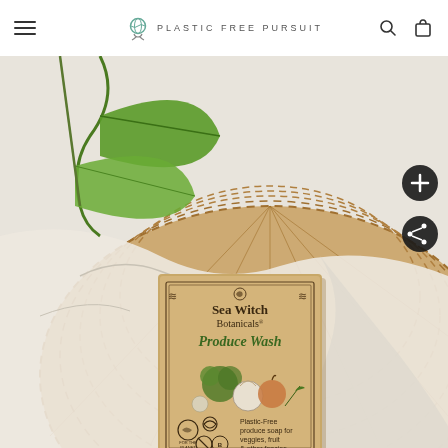Plastic Free Pursuit — navigation header with hamburger menu, logo, search icon, and cart icon
[Figure (photo): Product photo showing a Sea Witch Botanicals Produce Wash soap bar in kraft paper packaging, resting on a cream-colored linen cloth inside a wicker/rattan basket, with green plant leaves in the background. The packaging reads: Sea Witch Botanicals, Produce Wash, Plastic-Free produce soap for veggies, fruit & other fancies. Nature Misses You. Icons include For The Planet, vegan, no toxins, and Certified B Corp logos.]